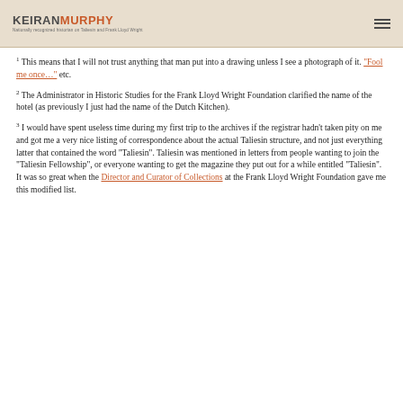KEIRAN MURPHY — Nationally recognized historian on Taliesin and Frank Lloyd Wright
1 This means that I will not trust anything that man put into a drawing unless I see a photograph of it. "Fool me once..." etc.
2 The Administrator in Historic Studies for the Frank Lloyd Wright Foundation clarified the name of the hotel (as previously I just had the name of the Dutch Kitchen).
3 I would have spent useless time during my first trip to the archives if the registrar hadn't taken pity on me and got me a very nice listing of correspondence about the actual Taliesin structure, and not just everything latter that contained the word "Taliesin". Taliesin was mentioned in letters from people wanting to join the "Taliesin Fellowship", or everyone wanting to get the magazine they put out for a while entitled "Taliesin". It was so great when the Director and Curator of Collections at the Frank Lloyd Wright Foundation gave me this modified list.